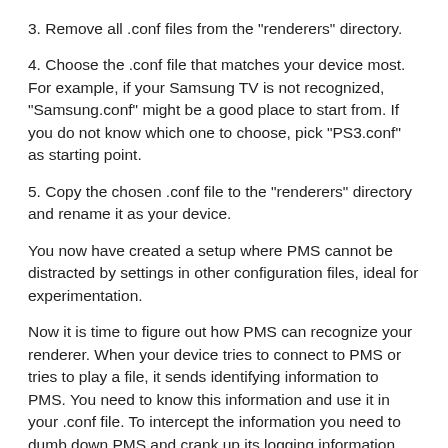3. Remove all .conf files from the "renderers" directory.
4. Choose the .conf file that matches your device most. For example, if your Samsung TV is not recognized, "Samsung.conf" might be a good place to start from. If you do not know which one to choose, pick "PS3.conf" as starting point.
5. Copy the chosen .conf file to the "renderers" directory and rename it as your device.
You now have created a setup where PMS cannot be distracted by settings in other configuration files, ideal for experimentation.
Now it is time to figure out how PMS can recognize your renderer. When your device tries to connect to PMS or tries to play a file, it sends identifying information to PMS. You need to know this information and use it in your .conf file. To intercept the information you need to dumb down PMS and crank up its logging information temporarily:
6. Open your .conf file with your favorite text editor. Look for the line that defines "UserAgentSearch" and